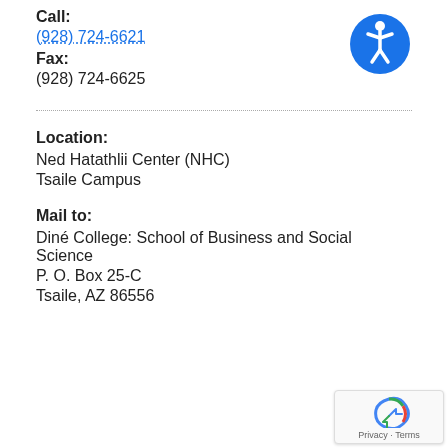Call:
(928) 724-6621
Fax:
(928) 724-6625
[Figure (logo): Blue circle accessibility icon with white figure in center]
Location:
Ned Hatathlii Center (NHC)
Tsaile Campus
Mail to:
Diné College: School of Business and Social Science
P. O. Box 25-C
Tsaile, AZ 86556
[Figure (logo): Google reCAPTCHA widget with Privacy · Terms text]